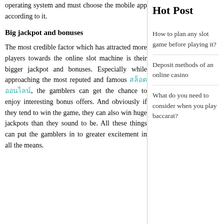operating system and must choose the mobile app according to it.
Big jackpot and bonuses
The most credible factor which has attracted more players towards the online slot machine is their bigger jackpot and bonuses. Especially while approaching the most reputed and famous สล็อตออนไลน์, the gamblers can get the chance to enjoy interesting bonus offers. And obviously if they tend to win the game, they can also win huge jackpots than they sound to be. All these things can put the gamblers in to greater excitement in all the means.
Hot Post
How to plan any slot game before playing it?
Deposit methods of an online casino
What do you need to consider when you play baccarat?